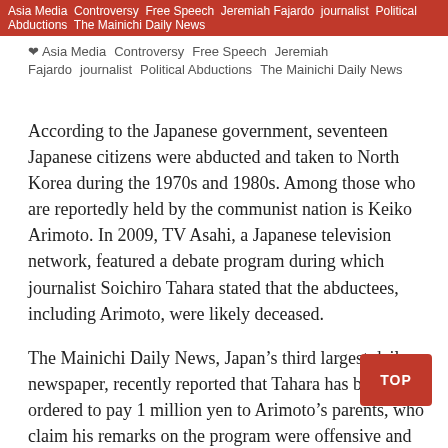Asia Media Controversy Free Speech Jeremiah Fajardo journalist Political Abductions The Mainichi Daily News
According to the Japanese government, seventeen Japanese citizens were abducted and taken to North Korea during the 1970s and 1980s. Among those who are reportedly held by the communist nation is Keiko Arimoto. In 2009, TV Asahi, a Japanese television network, featured a debate program during which journalist Soichiro Tahara stated that the abductees, including Arimoto, were likely deceased.
The Mainichi Daily News, Japan’s third largest daily newspaper, recently reported that Tahara has been ordered to pay 1 million yen to Arimoto’s parents, who claim his remarks on the program were offensive and misleading. While in court Tahara argued that his statements were “based on his news-gathering activities on what the Foreign Ministry really thinks about the [abductees].” Despite this claim, the Presiding Judge, h Nagai, found the remarks to be wholly fallacious and h
Following the trial Tahara expressed to reporters that the court